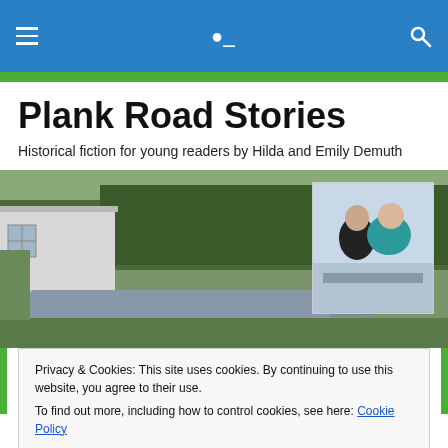≡  🔍
Plank Road Stories
Historical fiction for young readers by Hilda and Emily Demuth
[Figure (photo): Outdoor scene with a white building on the left, a wet driveway, and green trees in the background. An inset photo shows two women (Hilda and Emily Demuth) sitting together by water.]
Privacy & Cookies: This site uses cookies. By continuing to use this website, you agree to their use.
To find out more, including how to control cookies, see here: Cookie Policy
Close and accept
Everybody Joined the Dance